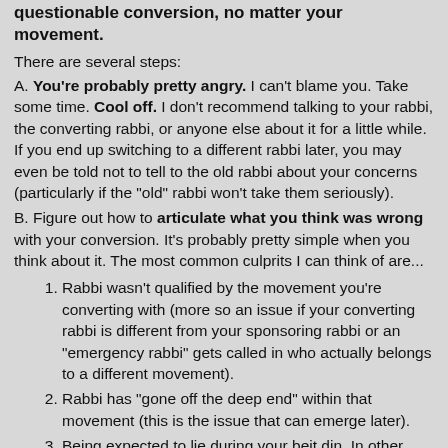questionable conversion, no matter your movement.
There are several steps:
A. You're probably pretty angry. I can't blame you. Take some time. Cool off. I don't recommend talking to your rabbi, the converting rabbi, or anyone else about it for a little while. If you end up switching to a different rabbi later, you may even be told not to tell to the old rabbi about your concerns (particularly if the "old" rabbi won't take them seriously).
B. Figure out how to articulate what you think was wrong with your conversion. It's probably pretty simple when you think about it. The most common culprits I can think of are...
Rabbi wasn't qualified by the movement you're converting with (more so an issue if your converting rabbi is different from your sponsoring rabbi or an "emergency rabbi" gets called in who actually belongs to a different movement).
Rabbi has "gone off the deep end" within that movement (this is the issue that can emerge later).
Being expected to lie during your beit din. In other words, asking questions with a "hint hint, nudge nudge,"